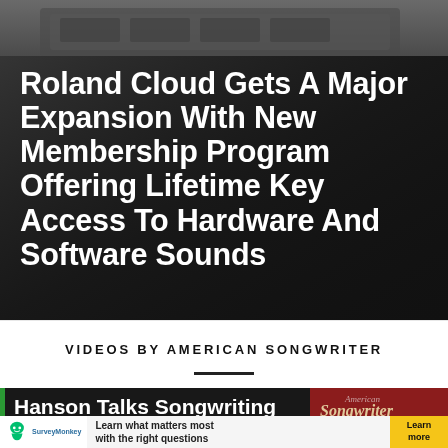[Figure (photo): Dark background photograph of what appears to be a keyboard or equipment, heavily shadowed, used as hero image behind the article title]
Roland Cloud Gets A Major Expansion With New Membership Program Offering Lifetime Key Access To Hardware And Software Sounds
VIDEOS BY AMERICAN SONGWRITER
[Figure (screenshot): Video thumbnail showing 'Hanson Talks Songwriting' with American Songwriter Interviews logo overlay and partial text 'Hanson talks about...' below. An advertisement banner from SurveyMonkey overlays the bottom portion.]